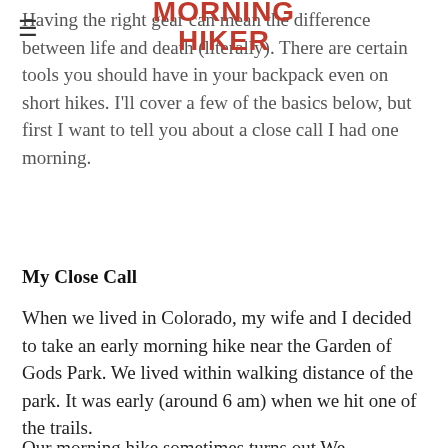MORNING HIKER
Having the right gear can mean the difference between life and death (literally). There are certain tools you should have in your backpack even on short hikes. I'll cover a few of the basics below, but first I want to tell you about a close call I had one morning.
My Close Call
When we lived in Colorado, my wife and I decided to take an early morning hike near the Garden of Gods Park. We lived within walking distance of the park. It was early (around 6 am) when we hit one of the trails.
Our morning hike sometimes turns out We